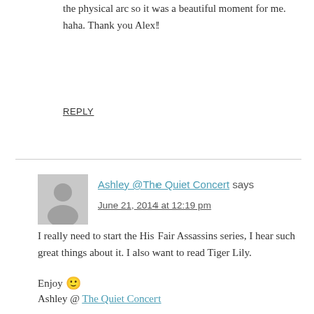the physical arc so it was a beautiful moment for me. haha. Thank you Alex!
REPLY
Ashley @The Quiet Concert says
June 21, 2014 at 12:19 pm
I really need to start the His Fair Assassins series, I hear such great things about it. I also want to read Tiger Lily.
Enjoy 🙂
Ashley @ The Quiet Concert
REPLY